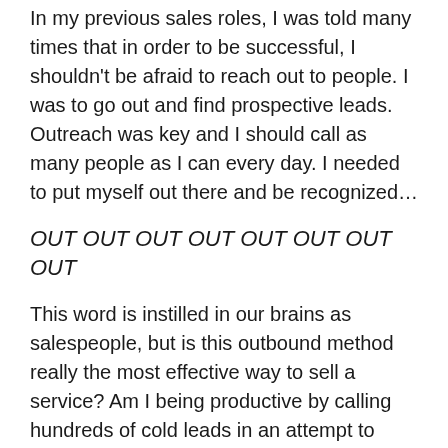In my previous sales roles, I was told many times that in order to be successful, I shouldn't be afraid to reach out to people. I was to go out and find prospective leads. Outreach was key and I should call as many people as I can every day. I needed to put myself out there and be recognized…
OUT OUT OUT OUT OUT OUT OUT OUT
This word is instilled in our brains as salespeople, but is this outbound method really the most effective way to sell a service? Am I being productive by calling hundreds of cold leads in an attempt to gain interest? Should hunting for customers be a primary goal? Although outreach is always going to be an important piece of the sales puzzle, there has got to be a better way to create touch points with contacts. This interruptive